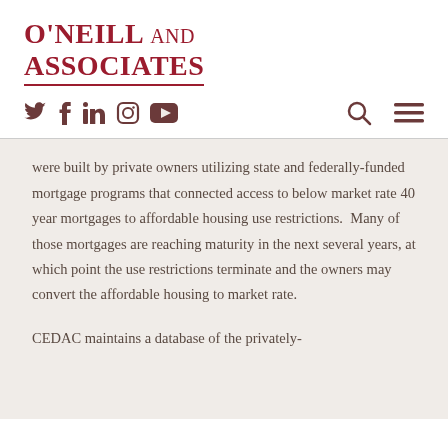O'Neill and Associates
[Figure (logo): Social media icons: Twitter, Facebook, LinkedIn, Instagram, YouTube; Search icon and hamburger menu icon on the right]
were built by private owners utilizing state and federally-funded mortgage programs that connected access to below market rate 40 year mortgages to affordable housing use restrictions.  Many of those mortgages are reaching maturity in the next several years, at which point the use restrictions terminate and the owners may convert the affordable housing to market rate.
CEDAC maintains a database of the privately-